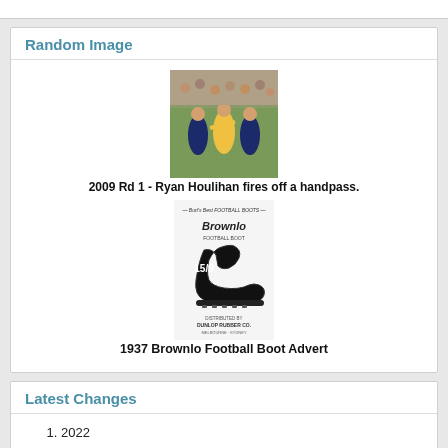Random Image
[Figure (photo): Photo of Australian football players on field — 2009 Rd 1 Ryan Houlihan fires off a handpass]
2009 Rd 1 - Ryan Houlihan fires off a handpass.
[Figure (illustration): 1937 Brownlo Football Boot advertisement showing a black boot with price 15/9]
1937 Brownlo Football Boot Advert
Latest Changes
2022
John Coleman Medallist
Bill Churchyard
Matt Owies
Jesse Motlop
Liam Stocker